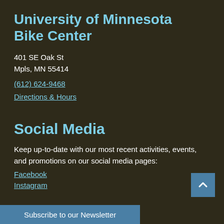University of Minnesota Bike Center
401 SE Oak St
Mpls, MN 55414
(612) 624-9468
Directions & Hours
Social Media
Keep up-to-date with our most recent activities, events, and promotions on our social media pages:
Facebook
Instagram
Subscribe to our Newsletter